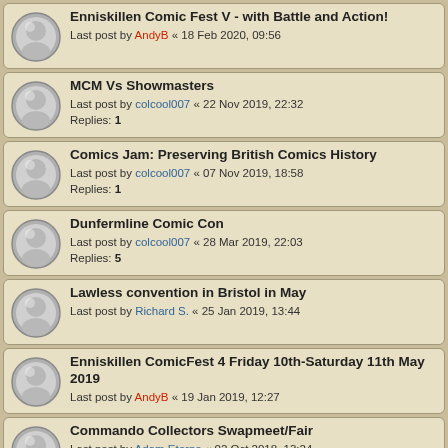Enniskillen Comic Fest V - with Battle and Action!
Last post by AndyB « 18 Feb 2020, 09:56
MCM Vs Showmasters
Last post by colcool007 « 22 Nov 2019, 22:32
Replies: 1
Comics Jam: Preserving British Comics History
Last post by colcool007 « 07 Nov 2019, 18:58
Replies: 1
Dunfermline Comic Con
Last post by colcool007 « 28 Mar 2019, 22:03
Replies: 5
Lawless convention in Bristol in May
Last post by Richard S. « 25 Jan 2019, 13:44
Enniskillen ComicFest 4 Friday 10th-Saturday 11th May 2019
Last post by AndyB « 19 Jan 2019, 12:27
Commando Collectors Swapmeet/Fair
Last post by Adam Eterno « 02 Oct 2018, 13:24
Replies: 23
Cartoon exhibition
Last post by stevezodiac « 07 Sep 2018, 20:22
London con this weekend